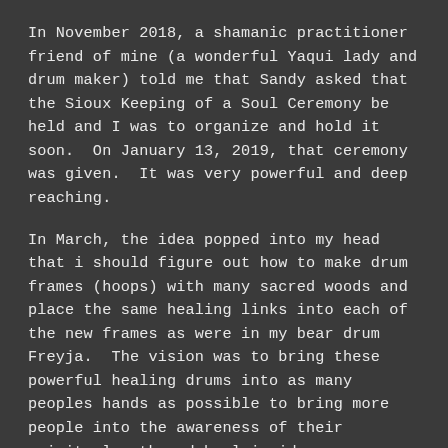In November 2018, a shamanic practitioner friend of mine (a wonderful Yaqui lady and drum maker) told me that Sandy asked that the Sioux Keeping of a Soul Ceremony be held and I was to organize and hold it soon.  On January 13, 2019, that ceremony was given.  It was very powerful and deep reaching.
In March, the idea popped into my head that i should figure out how to make drum frames (hoops) with many sacred woods and place the same healing links into each of the new frames as were in my bear drum Freyja.  The vision was to bring these powerful healing drums into as many peoples hands as possible to bring more people into the awareness of their spiritual path and heal inside.
Over the next few months, the vision grew and i finally created the first set of Wakan Drums.  To test their